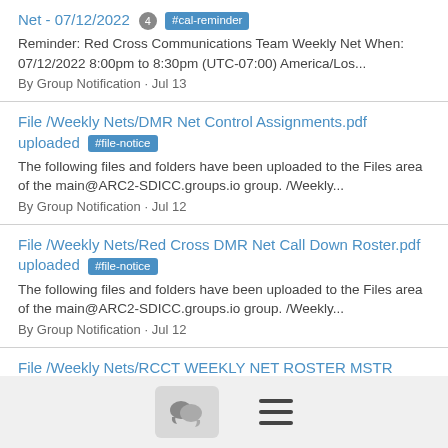Net - 07/12/2022 [4] #cal-reminder
Reminder: Red Cross Communications Team Weekly Net When: 07/12/2022 8:00pm to 8:30pm (UTC-07:00) America/Los...
By Group Notification · Jul 13
File /Weekly Nets/DMR Net Control Assignments.pdf uploaded #file-notice
The following files and folders have been uploaded to the Files area of the main@ARC2-SDICC.groups.io group. /Weekly...
By Group Notification · Jul 12
File /Weekly Nets/Red Cross DMR Net Call Down Roster.pdf uploaded #file-notice
The following files and folders have been uploaded to the Files area of the main@ARC2-SDICC.groups.io group. /Weekly...
By Group Notification · Jul 12
File /Weekly Nets/RCCT WEEKLY NET ROSTER MSTR 2022_07_09.xlsx uploaded #file-notice